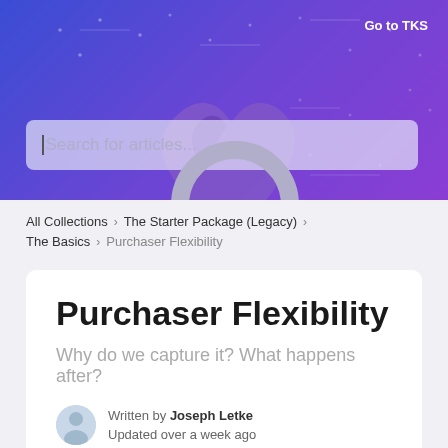[Figure (screenshot): Help center header banner with blue-purple gradient background, decorative dot/line pattern, TKS logo (hands icon), search bar reading 'Search for articles...', and 'Go to TKS' link in top right.]
All Collections > The Starter Package (Legacy) > The Basics > Purchaser Flexibility
Purchaser Flexibility
Why do we capture it? What happens after?
Written by Joseph Letke
Updated over a week ago